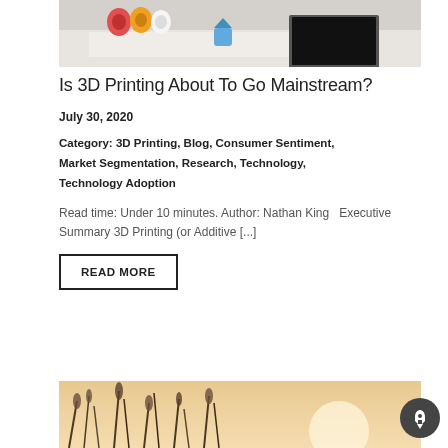[Figure (photo): Photo of a desk with 3D printing filament spools, a laptop, and a small 3D printed object]
Is 3D Printing About To Go Mainstream?
July 30, 2020
Category: 3D Printing, Blog, Consumer Sentiment, Market Segmentation, Research, Technology, Technology Adoption
Read time: Under 10 minutes. Author: Nathan King  Executive Summary 3D Printing (or Additive [...]
READ MORE
[Figure (photo): Photo of tall grasses or reeds against a light sky background]